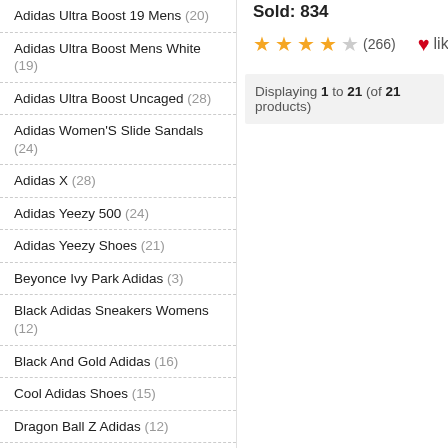Adidas Ultra Boost 19 Mens (20)
Adidas Ultra Boost Mens White (19)
Adidas Ultra Boost Uncaged (28)
Adidas Women'S Slide Sandals (24)
Adidas X (28)
Adidas Yeezy 500 (24)
Adidas Yeezy Shoes (21)
Beyonce Ivy Park Adidas (3)
Black Adidas Sneakers Womens (12)
Black And Gold Adidas (16)
Cool Adidas Shoes (15)
Dragon Ball Z Adidas (12)
Foot Locker Adidas (14)
Game Of Thrones Adidas Shoes (15)
Kobe 2 Adidas (7)
Sold: 834
★★★★☆ (266) like
Displaying 1 to 21 (of 21 products)